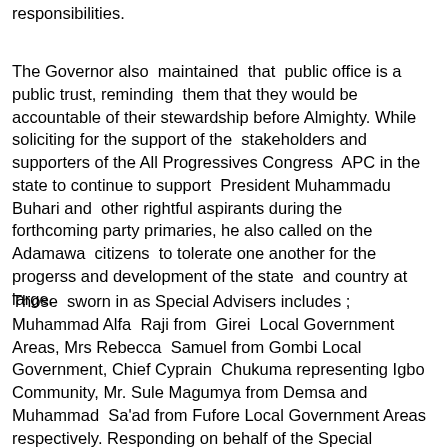responsibilities.
The Governor also maintained that public office is a public trust, reminding them that they would be accountable of their stewardship before Almighty. While soliciting for the support of the stakeholders and supporters of the All Progressives Congress APC in the state to continue to support President Muhammadu Buhari and other rightful aspirants during the forthcoming party primaries, he also called on the Adamawa citizens to tolerate one another for the progerss and development of the state and country at large.
Those sworn in as Special Advisers includes ; Muhammad Alfa Raji from Girei Local Government Areas, Mrs Rebecca Samuel from Gombi Local Government, Chief Cyprain Chukuma representing Igbo Community, Mr. Sule Magumya from Demsa and Muhammad Sa'ad from Fufore Local Government Areas respectively. Responding on behalf of the Special Advisers Mr. Sule Magumya and Mr. Adamu Wuro on behalf of the Development Agents...